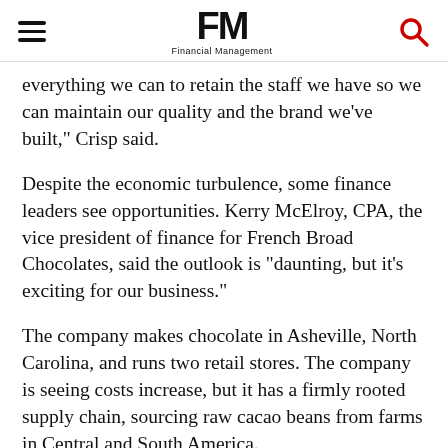FM Financial Management
everything we can to retain the staff we have so we can maintain our quality and the brand we've built," Crisp said.
Despite the economic turbulence, some finance leaders see opportunities. Kerry McElroy, CPA, the vice president of finance for French Broad Chocolates, said the outlook is "daunting, but it's exciting for our business."
The company makes chocolate in Asheville, North Carolina, and runs two retail stores. The company is seeing costs increase, but it has a firmly rooted supply chain, sourcing raw cacao beans from farms in Central and South America.